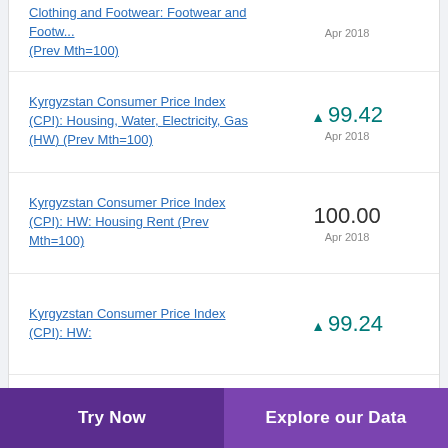Clothing and Footwear: Footwear and Footw... (Prev Mth=100)
Kyrgyzstan Consumer Price Index (CPI): Housing, Water, Electricity, Gas (HW) (Prev Mth=100)
Kyrgyzstan Consumer Price Index (CPI): HW: Housing Rent (Prev Mth=100)
Kyrgyzstan Consumer Price Index (CPI): HW:
Try Now | Explore our Data